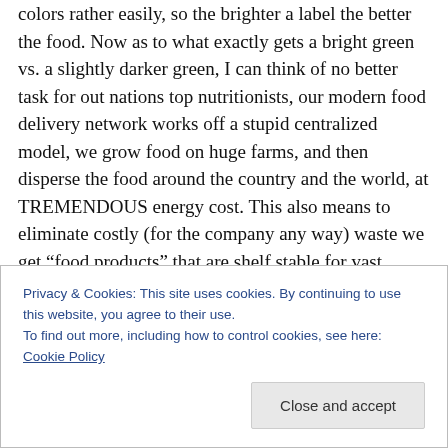colors rather easily, so the brighter a label the better the food. Now as to what exactly gets a bright green vs. a slightly darker green, I can think of no better task for out nations top nutritionists, our modern food delivery network works off a stupid centralized model, we grow food on huge farms, and then disperse the food around the country and the world, at TREMENDOUS energy cost. This also means to eliminate costly (for the company any way) waste we get “food products” that are shelf stable for vast amounts of time. This is (sometimes) achieved with the use of “processing” which can range from the addition
Privacy & Cookies: This site uses cookies. By continuing to use this website, you agree to their use.
To find out more, including how to control cookies, see here: Cookie Policy